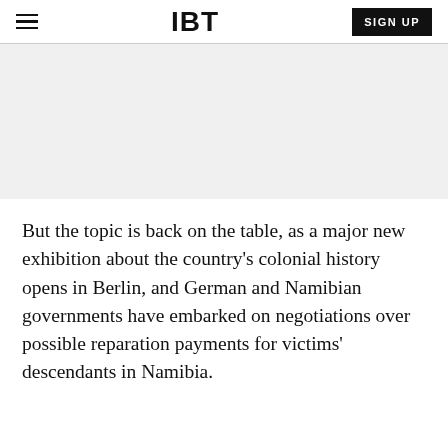IBT
[Figure (other): Gray advertisement banner placeholder area]
But the topic is back on the table, as a major new exhibition about the country's colonial history opens in Berlin, and German and Namibian governments have embarked on negotiations over possible reparation payments for victims' descendants in Namibia.